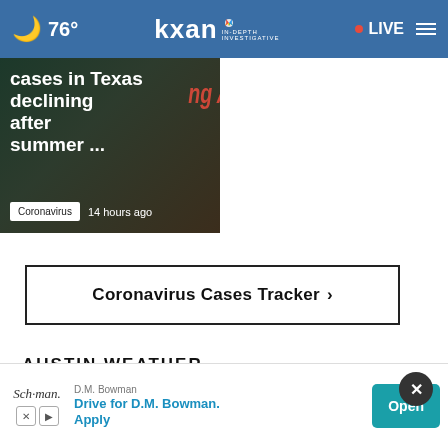76° | KXAN IN-DEPTH INVESTIGATIVE | LIVE
[Figure (screenshot): News article thumbnail showing text 'cases in Texas declining after summer ...' with Coronavirus tag and '14 hours ago' timestamp on dark background]
Coronavirus Cases Tracker ›
AUSTIN WEATHER
| Current | Tonight | Tomorrow |
| --- | --- | --- |
| 76° | 74° | 94° |
[Figure (screenshot): Advertisement banner for D.M. Bowman: 'Drive for D.M. Bowman. Apply' with Open button]